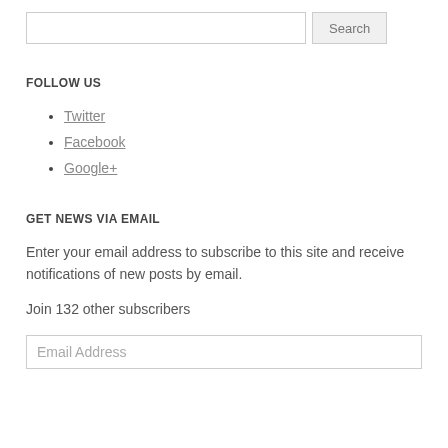[Figure (other): Search input box and Search button]
FOLLOW US
Twitter
Facebook
Google+
GET NEWS VIA EMAIL
Enter your email address to subscribe to this site and receive notifications of new posts by email.
Join 132 other subscribers
[Figure (other): Email Address input field]